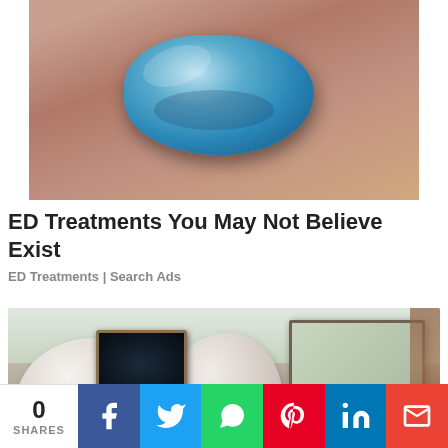[Figure (photo): A blue pill/tablet being held between fingers, close-up macro shot]
ED Treatments You May Not Believe Exist
ED Treatments | Search Ads
[Figure (photo): Luxury car interior showing white leather seats with headrest screens and wood trim]
0 SHARES | Facebook | Twitter | WhatsApp | Pinterest | LinkedIn | Gmail